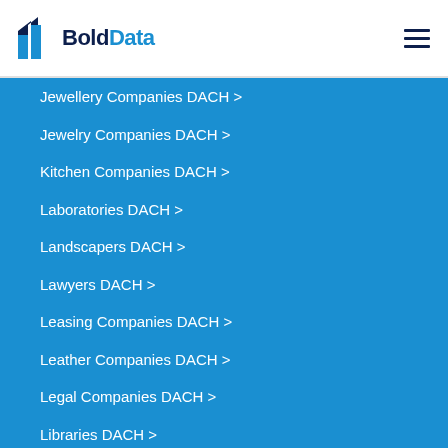BoldData
Jewellery Companies DACH >
Jewelry Companies DACH >
Kitchen Companies DACH >
Laboratories DACH >
Landscapers DACH >
Lawyers DACH >
Leasing Companies DACH >
Leather Companies DACH >
Legal Companies DACH >
Libraries DACH >
Light DACH >
Lighting Companies DACH >